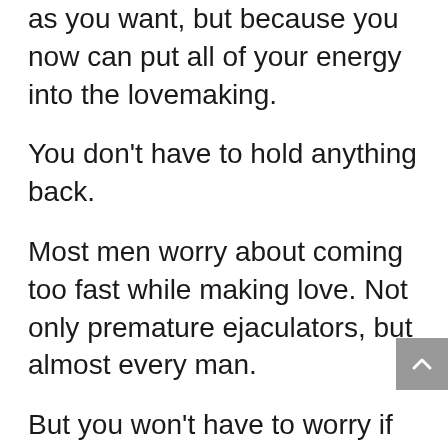as you want, but because you now can put all of your energy into the lovemaking.
You don't have to hold anything back.
Most men worry about coming too fast while making love. Not only premature ejaculators, but almost every man.
But you won't have to worry if you have developed your great sexual staying power.